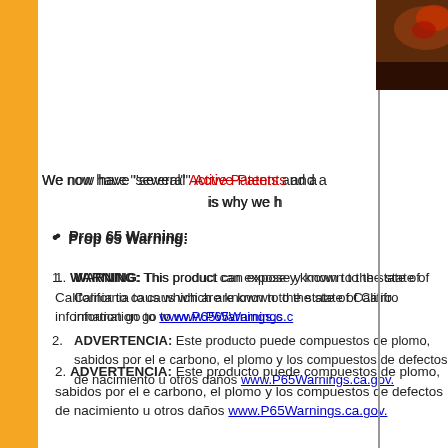[Figure (photo): Partial photo visible in top right corner showing a reddish-brown object on dark background]
We now have "several" Active Patents and a is why we h
Prop 65 Warning:
WARNING: This product can expose y known to the state of California to caus which are known to the state of Califro information go to www.P65Warnings.c
ADVERTENCIA: Este producto puede compuestos de plomo, sabidos por el e carbono, el plomo y los compuestos de defectos de nacimiento u otros daños www.P65Warnings.ca.gov.
For any competitors o
See
Safe FIREGlas
A m
Patent Pirac